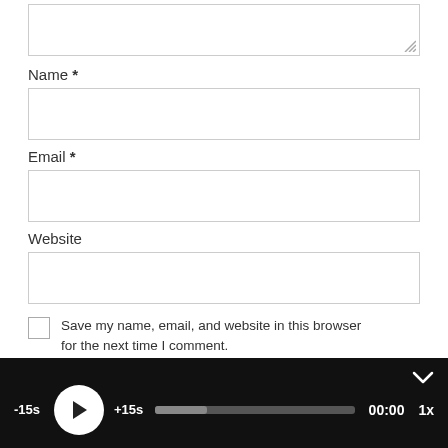[Figure (screenshot): Top portion of a web comment form showing a textarea (partially visible, resizable), followed by labeled input fields for Name, Email, and Website, and a checkbox for saving browser info.]
Name *
Email *
Website
Save my name, email, and website in this browser for the next time I comment.
[Figure (screenshot): Podcast audio player bar on dark/black background with -15s, play button, +15s skip controls, a progress bar, time display 00:00, and speed 1x. A chevron down icon is in the top-right.]
[Figure (screenshot): Red bottom navigation bar showing left/right arrow navigation buttons, EPISODE 129 label, RSS feed icon, and share/scissors icon on the right.]